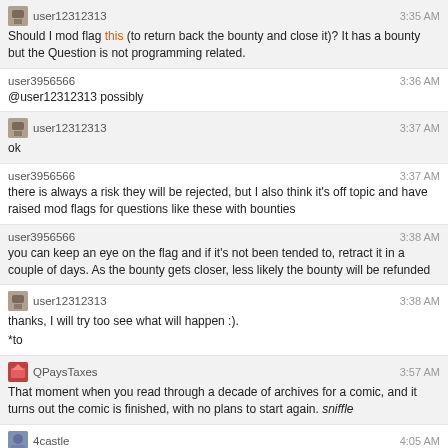user12312313 3:35 AM
Should I mod flag this (to return back the bounty and close it)? It has a bounty but the Question is not programming related.
user3956566 3:36 AM
@user12312313 possibly
user12312313 3:37 AM
ok
user3956566 3:37 AM
there is always a risk they will be rejected, but I also think it's off topic and have raised mod flags for questions like these with bounties
user3956566 3:38 AM
you can keep an eye on the flag and if it's not been tended to, retract it in a couple of days. As the bounty gets closer, less likely the bounty will be refunded
user12312313 3:38 AM
thanks, I will try too see what will happen :).
*to
QPaysTaxes 3:57 AM
That moment when you read through a decade of archives for a comic, and it turns out the comic is finished, with no plans to start again. sniffle
4castle 4:05 AM
@QPaysTaxes Which comic? I could use a break ;)
QPaysTaxes 4:05 AM